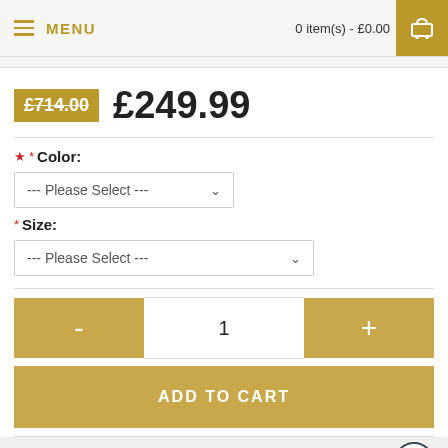MENU | 0 item(s) - £0.00
£714.00  £249.99
* Color: --- Please Select ---
* Size: --- Please Select ---
- 1 +
ADD TO CART
Add to Wish List  Add to Compare
0 reviews  •  Write a review